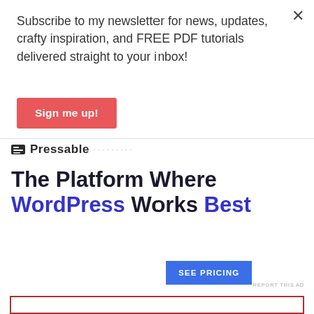Subscribe to my newsletter for news, updates, crafty inspiration, and FREE PDF tutorials delivered straight to your inbox!
Sign me up!
[Figure (logo): Pressable logo with icon and name, followed by decorative dots]
The Platform Where WordPress Works Best
SEE PRICING
REPORT THIS AD
[Figure (other): Empty red-bordered rectangle at the bottom of the page]